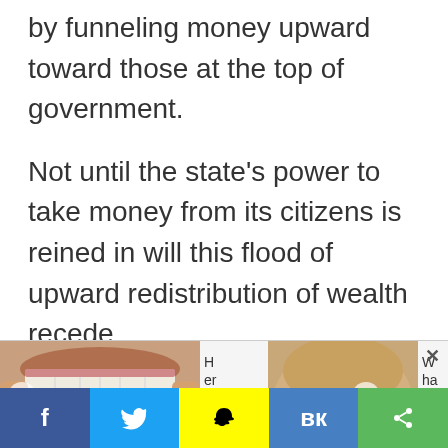by funneling money upward toward those at the top of government.
Not until the state's power to take money from its citizens is reined in will this flood of upward redistribution of wealth recede.
[Figure (other): Advertisement/related content bar with two thumbnail images (teeth close-up on left, skin/chin close-up on right), partial text labels 'H er e...' and 'W ha' with navigation arrows and close button]
[Figure (other): Social media sharing bar with Facebook (blue), Twitter (light blue), Snapchat (yellow), VK (blue), and Share (green) buttons]